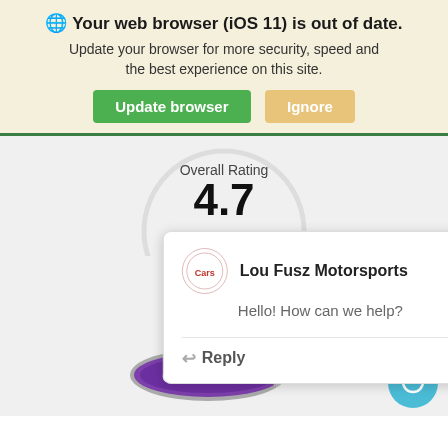🌐 Your web browser (iOS 11) is out of date. Update your browser for more security, speed and the best experience on this site.
Update browser | Ignore
Overall Rating 4.7
[Figure (screenshot): Chat popup from Lou Fusz Motorsports with message 'Hello! How can we help?' and a Reply button]
[Figure (logo): cars.com logo - purple oval with white text]
[Figure (other): Teal chat bubble button in bottom right corner]